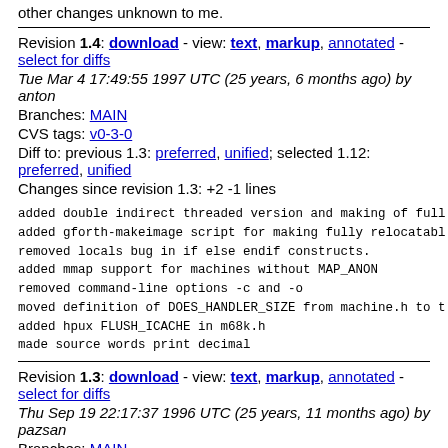other changes unknown to me.
Revision 1.4: download - view: text, markup, annotated - select for diffs
Tue Mar 4 17:49:55 1997 UTC (25 years, 6 months ago) by anton
Branches: MAIN
CVS tags: v0-3-0
Diff to: previous 1.3: preferred, unified; selected 1.12: preferred, unified
Changes since revision 1.3: +2 -1 lines
added double indirect threaded version and making of full
added gforth-makeimage script for making fully relocatabl
removed locals bug in if else endif constructs.
added mmap support for machines without MAP_ANON
removed command-line options -c and -o
moved definition of DOES_HANDLER_SIZE from machine.h to t
added hpux FLUSH_ICACHE in m68k.h
made source words print decimal
Revision 1.3: download - view: text, markup, annotated - select for diffs
Thu Sep 19 22:17:37 1996 UTC (25 years, 11 months ago) by pazsan
Branches: MAIN
CVS tags: v0-2-1, v0-2-0
Diff to: previous 1.2: preferred, unified; selected 1.12: preferred